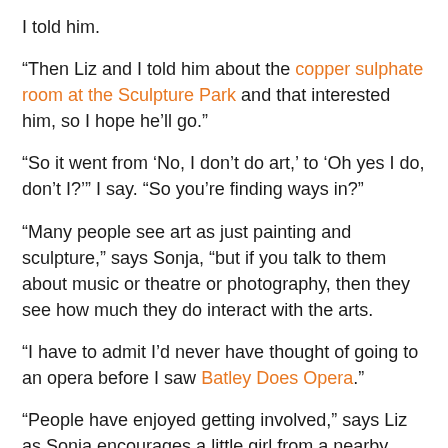I told him.
“Then Liz and I told him about the copper sulphate room at the Sculpture Park and that interested him, so I hope he’ll go.”
“So it went from ‘No, I don’t do art,’ to ‘Oh yes I do, don’t I?’ I say. “So you’re finding ways in?”
“Many people see art as just painting and sculpture,” says Sonja, “but if you talk to them about music or theatre or photography, then they see how much they do interact with the arts.
“I have to admit I’d never have thought of going to an opera before I saw Batley Does Opera.”
“People have enjoyed getting involved,” says Liz as Sonja encourages a little girl from a nearby table to join the creative fun. “We’ve given people a simple task, sometimes just a a one line doodle, to encourage them to pick up a pen